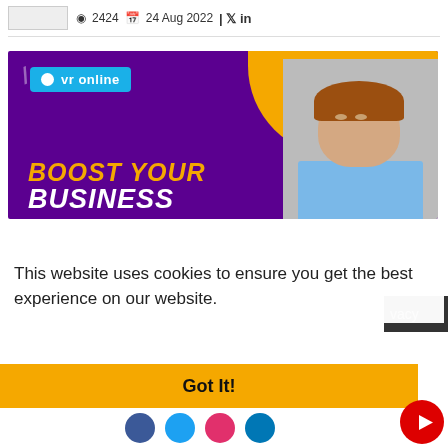2424  24 Aug 2022
[Figure (illustration): VR Online advertisement banner with purple background, golden accent, 'BOOST YOUR BUSINESS' text in gold and white, person in blue shirt, and VR Online logo in cyan]
This website uses cookies to ensure you get the best experience on our website.
vacy
Got It!